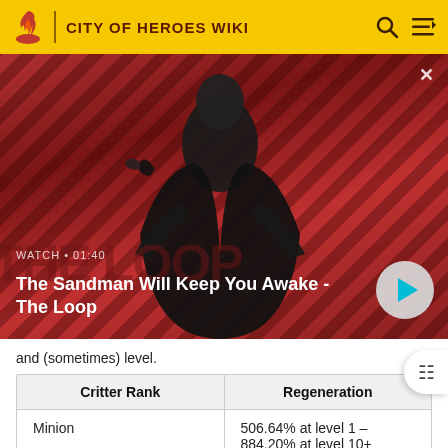CITY OF HEROES WIKI
[Figure (screenshot): Video thumbnail for 'The Sandman Will Keep You Awake - The Loop' with a man in dark clothing and a bird on his shoulder against a red diagonal striped background. Shows WATCH • 01:40 label and a play button.]
and (sometimes) level.
| Critter Rank | Regeneration |
| --- | --- |
| Minion | 506.64% at level 1 – 884.20% at level 10+ |